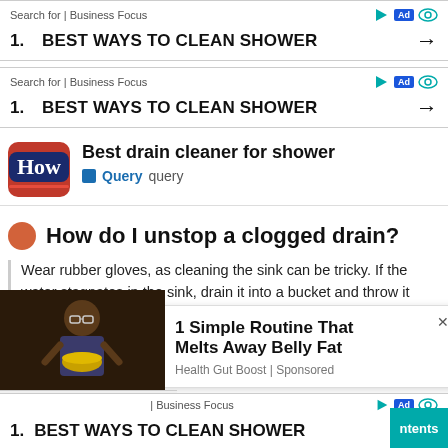Search for | Business Focus
1. BEST WAYS TO CLEAN SHOWER →
Search for | Business Focus
1. BEST WAYS TO CLEAN SHOWER →
Best drain cleaner for shower
Query  query
How do I unstop a clogged drain?
Wear rubber gloves, as cleaning the sink can be tricky. If the water stagnates in the sink, drain it into a bucket and throw it away. Boil a kettle in standing water and slowly pour it ... baking soda
1 Simple Routine That Melts Away Belly Fat
Health Gut Boost | Sponsored
1. BEST WAYS TO CLEAN SHOWER